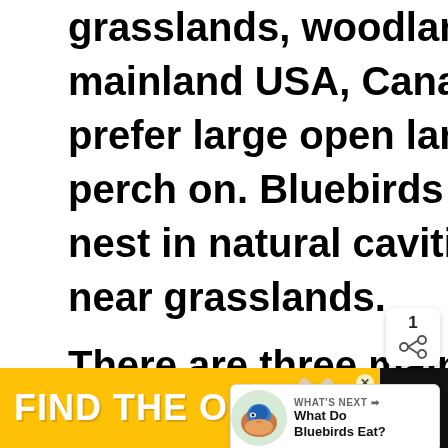grasslands, woodlands, and parks of mainland USA, Canada, and Mexico. They prefer large open lands with foliage to perch on. Bluebirds prefer to build their nest in natural cavities or nesting boxes near grasslands.
There are three main species of bluebirds that have adapted to live in different environments. If you like to know more about where
[Figure (infographic): Heart/like button (blue circle with white heart icon), share count of 1, share icon, and a 'What's Next' widget showing a bluebird image with text 'What Do Bluebirds Eat?']
[Figure (infographic): Advertisement banner with yellow background showing 'FIND THE ONE' text with a dog image, and a dark right section with a brand logo]